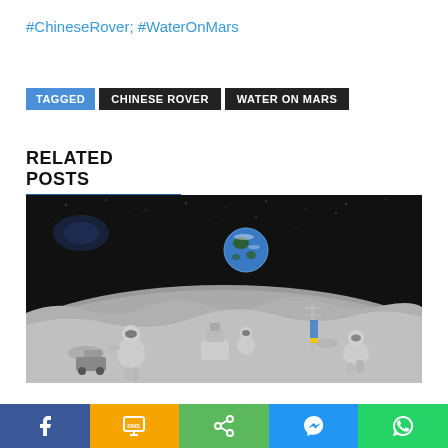#ChineseRover; #WaterOnMars
TAGGED  CHINESE ROVER  WATER ON MARS
RELATED POSTS
[Figure (photo): Illustration of astronauts and equipment on the lunar surface with Earth visible in the background and a dark starry sky]
Social share buttons: Facebook, SMS, Share, Messenger, WhatsApp